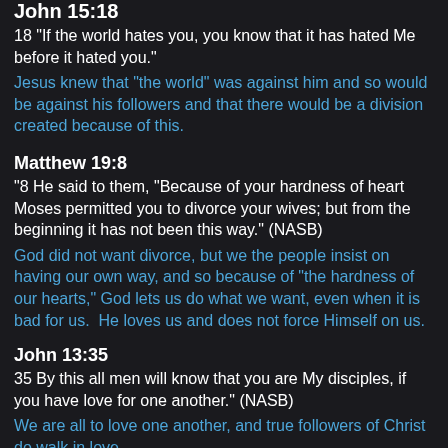John 15:18
18 “If the world hates you, you know that it has hated Me before it hated you.”
Jesus knew that “the world” was against him and so would be against his followers and that there would be a division created because of this.
Matthew 19:8
“8 He said to them, “Because of your hardness of heart Moses permitted you to divorce your wives; but from the beginning it has not been this way.” (NASB)
God did not want divorce, but we the people insist on having our own way, and so because of “the hardness of our hearts,” God lets us do what we want, even when it is bad for us.  He loves us and does not force Himself on us.
John 13:35
35 By this all men will know that you are My disciples, if you have love for one another.” (NASB)
We are all to love one another, and true followers of Christ do walk in love.
2 Timothy 3:1-3